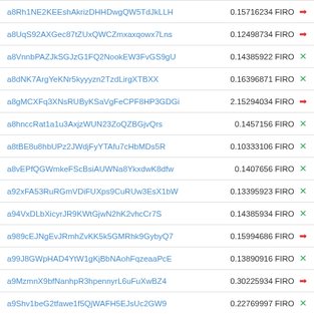| Address | Amount |
| --- | --- |
| a8Rh1NE2KEEshAkrizDHHDwgQW5TdJkLLH | 0.15716234 FIRO → |
| a8UqS92AXGec87tZUxQWCZmxaxqowx7Lns | 0.12498734 FIRO → |
| a8VnnbPAZJkSGJzG1FQ2NookEW3FvGS9gU | 0.14385922 FIRO × |
| a8dNK7ArgYeKNr5kyyyzn2TzdLirgXTBXX | 0.16396871 FIRO × |
| a8gMCXFq3XNsRUByKSaVgFeCPF8HP3GDGi | 2.15294034 FIRO → |
| a8hnccRat1a1u3AxjzWUN23ZoQZBGjvQrs | 0.1457156 FIRO × |
| a8tBE8u8hbUPz2JWdjFyYTAfu7cHbMDs5R | 0.10333106 FIRO × |
| a8vEPfQGWmkeFScBsiAUWNa8YkxdwK8dfw | 0.1407656 FIRO × |
| a92xFA53RuRGmVDiFUXps9CuRUw3EsX1bW | 0.13395923 FIRO × |
| a94VxDLbXicyrJR9KWtGjwN2hK2vhcCr7S | 0.14385934 FIRO × |
| a989cEJNgEvJRmhZvKK5k5GMRhk9GybyQ7 | 0.15994686 FIRO → |
| a99J8GWpHAD4YtW1gKjBbNAohFqzeaaPcE | 0.13890916 FIRO × |
| a9MzmnX9bfNanhpR3hpennyrL6uFuXwBZ4 | 0.30225934 FIRO → |
| a9Shv1beG2tfawe1f5QjWAFH5EJsUc2GW9 | 0.22769997 FIRO × |
| a9m8raBnCr4ES27M73Me8nDuAp78JKUJEo | 0.13117483 FIRO × |